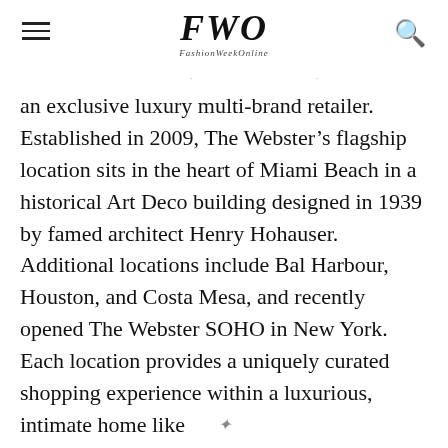FWO FashionWeekOnline
an exclusive luxury multi-brand retailer. Established in 2009, The Webster’s flagship location sits in the heart of Miami Beach in a historical Art Deco building designed in 1939 by famed architect Henry Hohauser. Additional locations include Bal Harbour, Houston, and Costa Mesa, and recently opened The Webster SOHO in New York. Each location provides a uniquely curated shopping experience within a luxurious, intimate home like